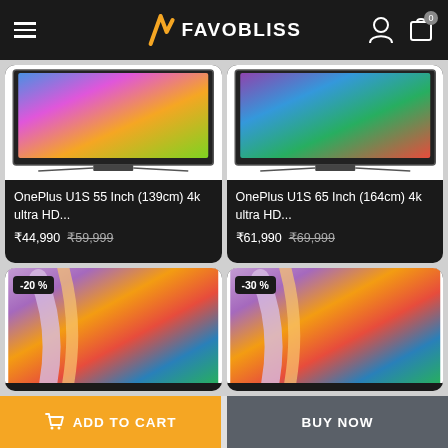FAVOBLISS
[Figure (screenshot): OnePlus U1S 55 Inch TV product image on white background]
OnePlus U1S 55 Inch (139cm) 4k ultra HD...
₹44,990 ₹59,999
[Figure (screenshot): OnePlus U1S 65 Inch TV product image on white background]
OnePlus U1S 65 Inch (164cm) 4k ultra HD...
₹61,990 ₹69,999
[Figure (screenshot): Product with -20% discount badge, colorful abstract wallpaper TV]
[Figure (screenshot): Product with -30% discount badge, colorful abstract wallpaper TV]
ADD TO CART
BUY NOW